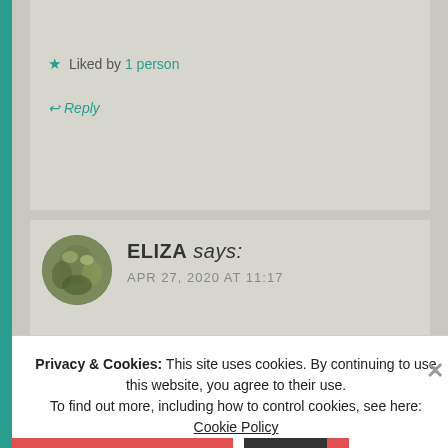★ Liked by 1 person
↩ Reply
ELIZA says: APR 27, 2020 AT 11:17
Political views shouldn't define friendship:( Have you shared your blog with your old
Privacy & Cookies: This site uses cookies. By continuing to use this website, you agree to their use. To find out more, including how to control cookies, see here: Cookie Policy
Close and accept